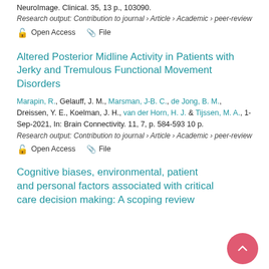NeuroImage. Clinical. 35, 13 p., 103090.
Research output: Contribution to journal › Article › Academic › peer-review
Open Access   File
Altered Posterior Midline Activity in Patients with Jerky and Tremulous Functional Movement Disorders
Marapin, R., Gelauff, J. M., Marsman, J-B. C., de Jong, B. M., Dreissen, Y. E., Koelman, J. H., van der Horn, H. J. & Tijssen, M. A., 1-Sep-2021, In: Brain Connectivity. 11, 7, p. 584-593 10 p.
Research output: Contribution to journal › Article › Academic › peer-review
Open Access   File
Cognitive biases, environmental, patient and personal factors associated with critical care decision making: A scoping review